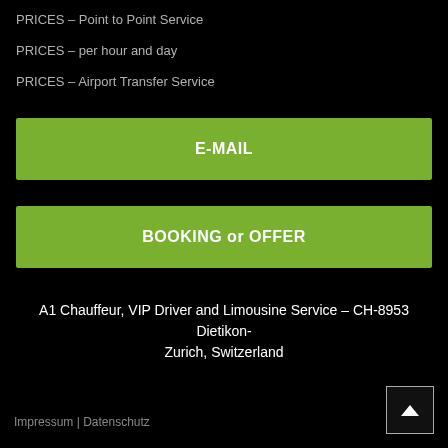PRICES – Point to Point Service
PRICES – per hour and day
PRICES – Airport Transfer Service
E-MAIL
BOOKING or OFFER
A1 Chauffeur, VIP Driver and Limousine Service – CH-8953 Dietikon-Zurich, Switzerland
Impressum | Datenschutz